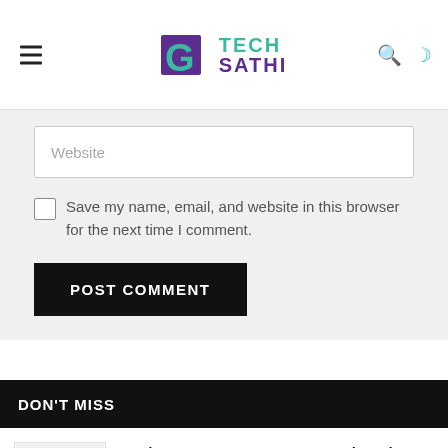Tech Sathi
Website
Save my name, email, and website in this browser for the next time I comment.
POST COMMENT
DON'T MISS
Businesses Can Now Get LC and Bank Guarantee Online from Global IME Bank